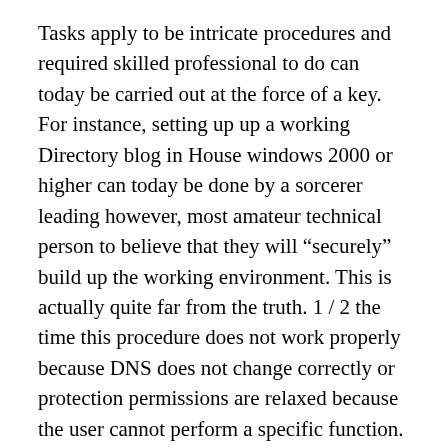Tasks apply to be intricate procedures and required skilled professional to do can today be carried out at the force of a key. For instance, setting up up a working Directory blog in House windows 2000 or higher can today be done by a sorcerer leading however, most amateur technical person to believe that they will “securely” build up the working environment. This is actually quite far from the truth. 1 / 2 the time this procedure does not work properly because DNS does not change correctly or protection permissions are relaxed because the user cannot perform a specific function.
A person of the reasons how come operating devices and applications “appear” to be easier